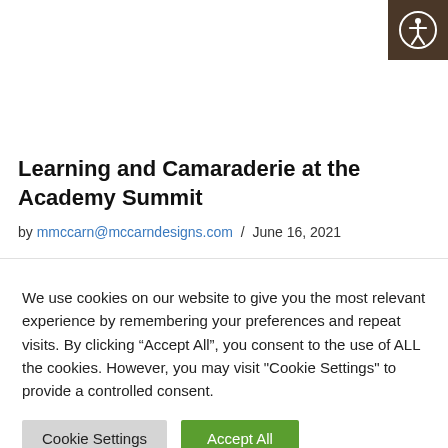[Figure (other): Accessibility icon button (person in circle) on dark brown background, top right corner]
Learning and Camaraderie at the Academy Summit
by mmccarn@mccarndesigns.com / June 16, 2021
We use cookies on our website to give you the most relevant experience by remembering your preferences and repeat visits. By clicking “Accept All”, you consent to the use of ALL the cookies. However, you may visit "Cookie Settings" to provide a controlled consent.